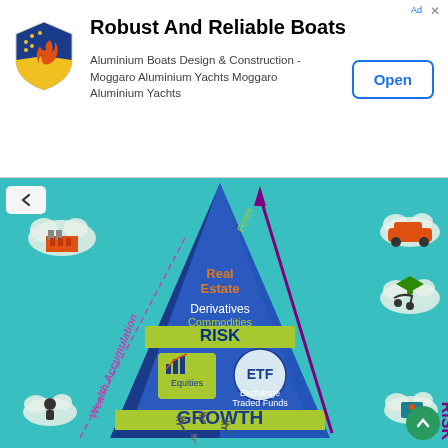[Figure (infographic): Advertisement banner for Moggaro Aluminium Yachts with shield logo, title 'Robust And Reliable Boats', subtitle text about Aluminium Boats Design & Construction, and an 'Open' button. Below is an investment pyramid infographic on teal background showing layers: Forex (top), Real Estate, Derivatives, Commodities, RISK band, Equities & Exchange Traded Funds, GROWTH band, and base with currency symbols. A purple arrow points upward labeled RISK on the right. A dashed arrow labeled WEALTH ACCUMULATION on the left. Decorative cloud icons with factory, car, graduation cap, baby stroller, clock/person, and map icons around the edges.]